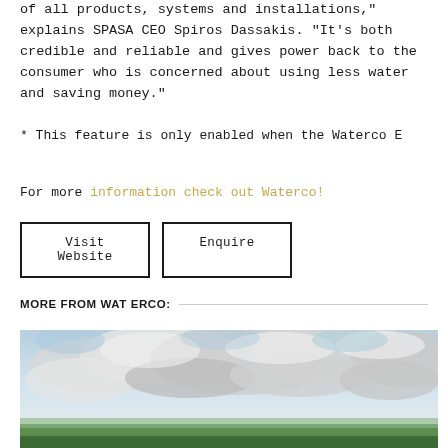of all products, systems and installations," explains SPASA CEO Spiros Dassakis. "It's both credible and reliable and gives power back to the consumer who is concerned about using less water and saving money."
* This feature is only enabled when the Waterco E
For more information check out Waterco!
Visit Website    Enquire
MORE FROM WATERCO:
[Figure (photo): Outdoor landscape photo with a wide field of green grass and a dramatic cloudy sky in blues and greys]